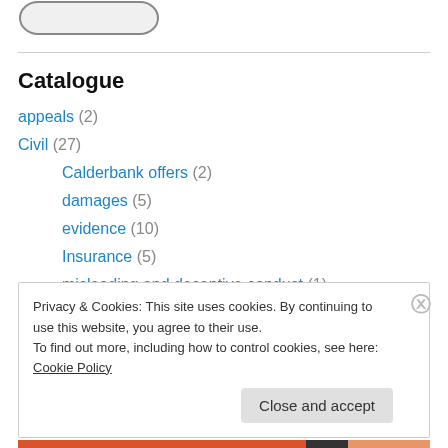[Figure (other): Rounded rectangle button shape at top of page]
Catalogue
appeals (2)
Civil (27)
Calderbank offers (2)
damages (5)
evidence (10)
Insurance (5)
misleading and deceptive conduct (1)
notices to produce (2)
Privacy & Cookies: This site uses cookies. By continuing to use this website, you agree to their use.
To find out more, including how to control cookies, see here: Cookie Policy
Close and accept